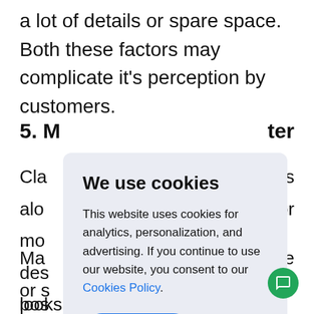a lot of details or spare space. Both these factors may complicate it's perception by customers.
5. M...ter
Cla...
alo...
mo...
des...
pos...
Ma...
or s...
com...
looks good anywhere so UI/UX designers can
[Figure (screenshot): Cookie consent modal overlay with title 'We use cookies', description text about analytics/personalization/advertising, a Cookies Policy link, and a blue Accept button.]